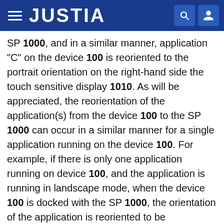JUSTIA
SP 1000, and in a similar manner, application "C" on the device 100 is reoriented to the portrait orientation on the right-hand side the touch sensitive display 1010. As will be appreciated, the reorientation of the application(s) from the device 100 to the SP 1000 can occur in a similar manner for a single application running on the device 100. For example, if there is only one application running on device 100, and the application is running in landscape mode, when the device 100 is docked with the SP 1000, the orientation of the application is reoriented to be appropriate for the current orientation of the SP 1000. For example, if the application on the device 100 is in portrait mode, and the SP 1000 is in landscape mode, the application is reoriented from portrait mode on the device 100 to landscape mode on the SP 1000. In a similar manner, if the application on the device is in landscape mode, and